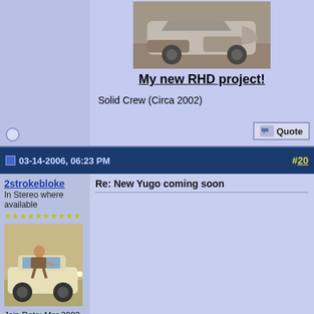[Figure (photo): A wrecked/muddy white car, damaged body, front end visible.]
My new RHD project!
Solid Crew (Circa 2002)
03-14-2006, 06:23 PM  #20
2strokebloke
In Stereo where available
Join Date: Mar 2003
Location: next to a ditch, Colorado
Posts: 4,481
Thanks: 0
[Figure (photo): User avatar showing a person leaning on a small vintage car (Yugo/Fiat style), beige/cream colored.]
Re: New Yugo coming soon